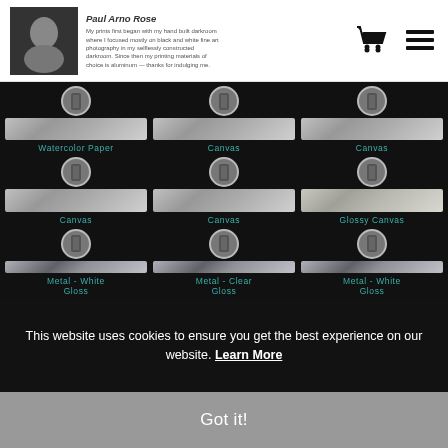Paul Arno Rose
[Figure (illustration): Grid of 9 print media type thumbnails with toggle icons: Watercolor Paper, Canvas (x4), Glossy Canvas, Metal - White Gloss, Metal - Clear Gloss, Metal - White Gloss]
Watercolor Paper
Canvas
Canvas
Canvas
Canvas
Glossy Canvas
Metal - White Gloss
Metal - Clear Gloss
Metal - White Gloss
This website uses cookies to ensure you get the best experience on our website. Learn More
Got it!